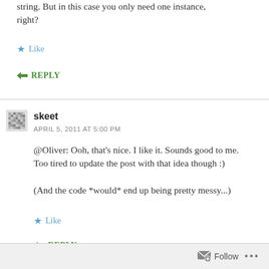string. But in this case you only need one instance, right?
Like
REPLY
skeet
APRIL 5, 2011 AT 5:00 PM
@Oliver: Ooh, that's nice. I like it. Sounds good to me. Too tired to update the post with that idea though :)

(And the code *would* end up being pretty messy...)
Like
REPLY